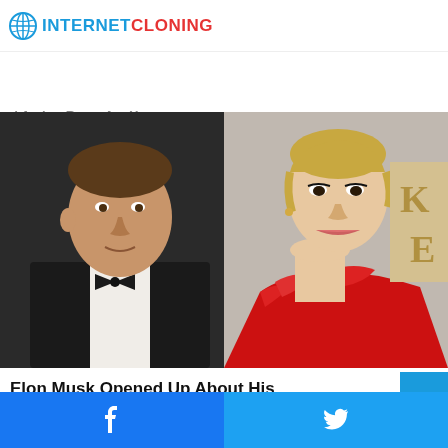INTERNET CLONING
d Amber Rose, Are You Seeing This?
HERBEAUTY
[Figure (photo): Photo of Elon Musk in a black tuxedo with bow tie on the left, and Amber Heard in a red frilly halter dress on the right, at a formal event]
Elon Musk Opened Up About His Relationship With Amber Heard
TRAITSLAB